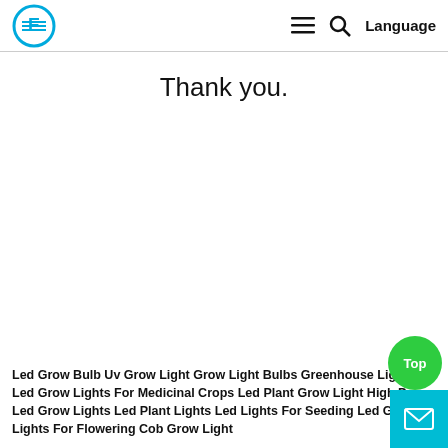Logo | ≡ 🔍 Language
Thank you.
Led Grow Bulb Uv Grow Light Grow Light Bulbs Greenhouse Lights Led Grow Lights For Medicinal Crops Led Plant Grow Light High Power Led Grow Lights Led Plant Lights Led Lights For Seeding Led Grow Lights For Flowering Cob Grow Light